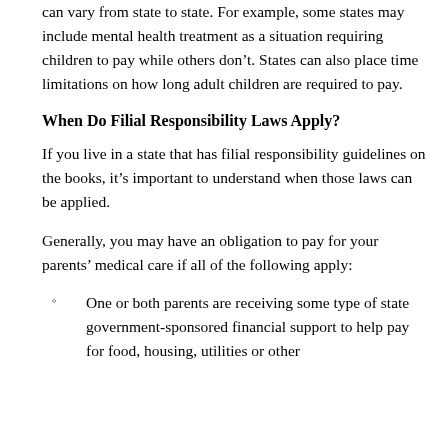can vary from state to state. For example, some states may include mental health treatment as a situation requiring children to pay while others don’t. States can also place time limitations on how long adult children are required to pay.
When Do Filial Responsibility Laws Apply?
If you live in a state that has filial responsibility guidelines on the books, it’s important to understand when those laws can be applied.
Generally, you may have an obligation to pay for your parents’ medical care if all of the following apply:
One or both parents are receiving some type of state government-sponsored financial support to help pay for food, housing, utilities or other